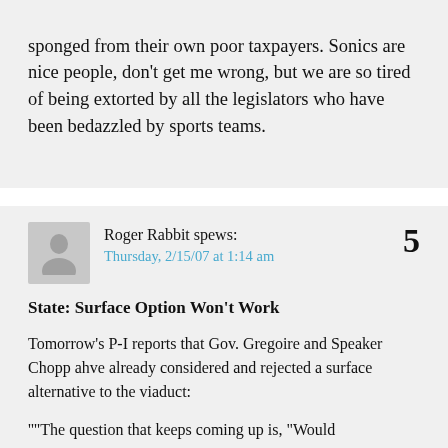sponged from their own poor taxpayers. Sonics are nice people, don't get me wrong, but we are so tired of being extorted by all the legislators who have been bedazzled by sports teams.
Roger Rabbit spews:
Thursday, 2/15/07 at 1:14 am
5
State: Surface Option Won't Work
Tomorrow's P-I reports that Gov. Gregoire and Speaker Chopp ahve already considered and rejected a surface alternative to the viaduct:
""The question that keeps coming up is, "Would